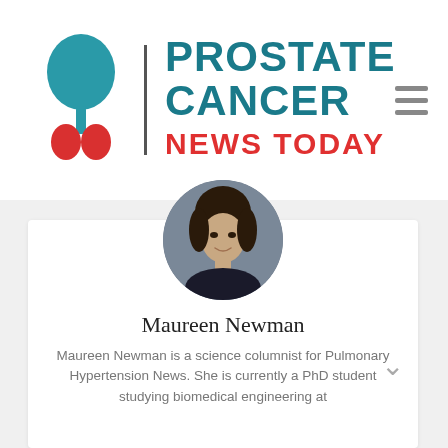[Figure (logo): Prostate Cancer News Today logo with teal prostate gland icon, vertical divider, and text 'PROSTATE CANCER NEWS TODAY']
[Figure (photo): Circular profile photo of Maureen Newman, a woman with dark hair, smiling]
Maureen Newman
Maureen Newman is a science columnist for Pulmonary Hypertension News. She is currently a PhD student studying biomedical engineering at